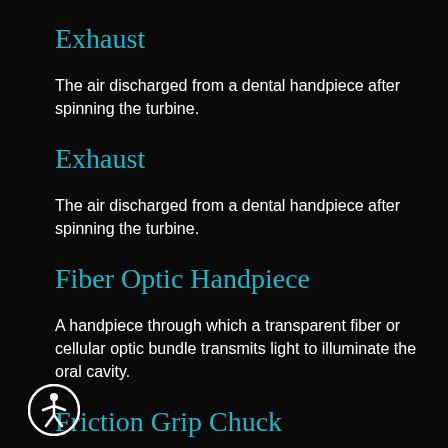Exhaust
The air discharged from a dental handpiece after spinning the turbine.
Exhaust
The air discharged from a dental handpiece after spinning the turbine.
Fiber Optic Handpiece
A handpiece through which a transparent fiber or cellular optic bundle transmits light to illuminate the oral cavity.
Friction Grip Chuck
A chuck which holds the bur strictly by friction generated from an internal spring assembly. The bur is simply pushed in and out